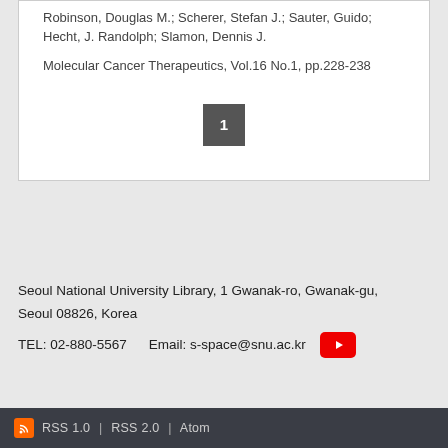Robinson, Douglas M.; Scherer, Stefan J.; Sauter, Guido; Hecht, J. Randolph; Slamon, Dennis J.
Molecular Cancer Therapeutics, Vol.16 No.1, pp.228-238
1
Seoul National University Library, 1 Gwanak-ro, Gwanak-gu, Seoul 08826, Korea
TEL: 02-880-5567    Email: s-space@snu.ac.kr
RSS 1.0  |  RSS 2.0  |  Atom